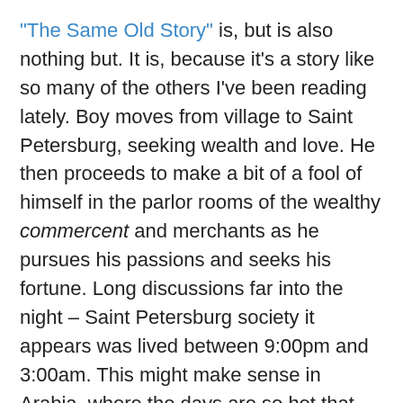"The Same Old Story" is, but is also nothing but. It is, because it's a story like so many of the others I've been reading lately. Boy moves from village to Saint Petersburg, seeking wealth and love. He then proceeds to make a bit of a fool of himself in the parlor rooms of the wealthy commercent and merchants as he pursues his passions and seeks his fortune. Long discussions far into the night – Saint Petersburg society it appears was lived between 9:00pm and 3:00am. This might make sense in Arabia, where the days are so hot that people save the nighttime for their amorous dalliances and social calls. But Petersburg at 3:00am must have been a hellishly cold place indeed.
From one parlor to another – drinking wine (rarely vodka) and talking about business and Paris and, of course, love.